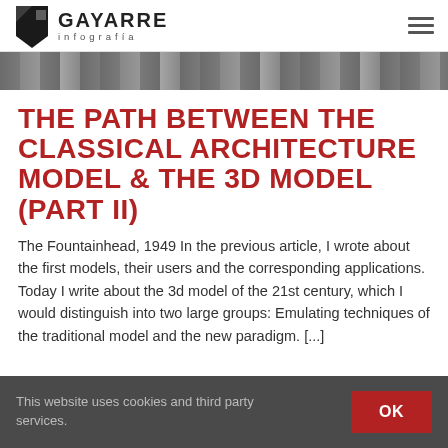GAYARRE infografía
[Figure (photo): Grayscale hero image strip showing people working with architectural models]
THE PATH BETWEEN THE CLASSICAL ARCHITECTURE MODEL & THE 3D MODEL (PART II)
The Fountainhead, 1949 In the previous article, I wrote about the first models, their users and the corresponding applications. Today I write about the 3d model of the 21st century, which I would distinguish into two large groups: Emulating techniques of the traditional model and the new paradigm. [...]
This website uses cookies and third party services.